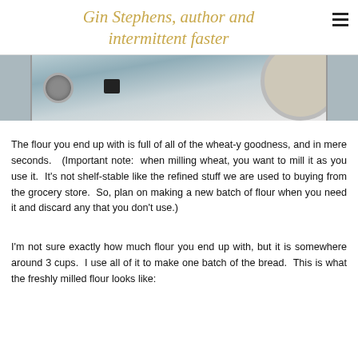Gin Stephens, author and intermittent faster
[Figure (photo): Close-up photo of a grain mill appliance showing dials, a switch, and a round lid on the right side]
The flour you end up with is full of all of the wheat-y goodness, and in mere seconds.  (Important note:  when milling wheat, you want to mill it as you use it.  It's not shelf-stable like the refined stuff we are used to buying from the grocery store.  So, plan on making a new batch of flour when you need it and discard any that you don't use.)
I'm not sure exactly how much flour you end up with, but it is somewhere around 3 cups.  I use all of it to make one batch of the bread.  This is what the freshly milled flour looks like: